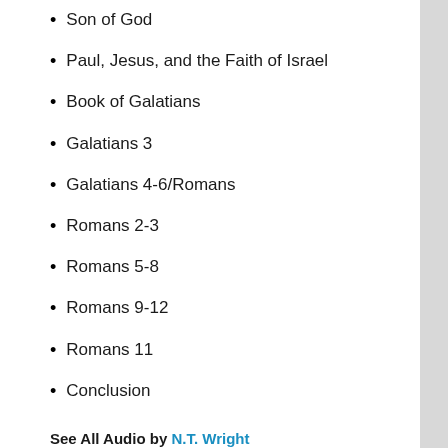Son of God
Paul, Jesus, and the Faith of Israel
Book of Galatians
Galatians 3
Galatians 4-6/Romans
Romans 2-3
Romans 5-8
Romans 9-12
Romans 11
Conclusion
See All Audio by N.T. Wright
RELATED AUDIO
[Figure (photo): Two thumbnail photos of speakers for related audio section]